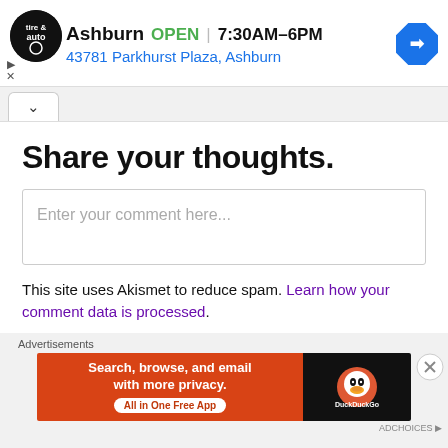[Figure (screenshot): Ad banner for Virginia Tire & Auto in Ashburn showing logo, OPEN status, hours 7:30AM-6PM, address 43781 Parkhurst Plaza Ashburn, and navigation icon]
[Figure (screenshot): Tab/collapse bar with an up-caret button]
Share your thoughts.
Enter your comment here...
This site uses Akismet to reduce spam. Learn how your comment data is processed.
[Figure (screenshot): DuckDuckGo advertisement banner: Search, browse, and email with more privacy. All in One Free App]